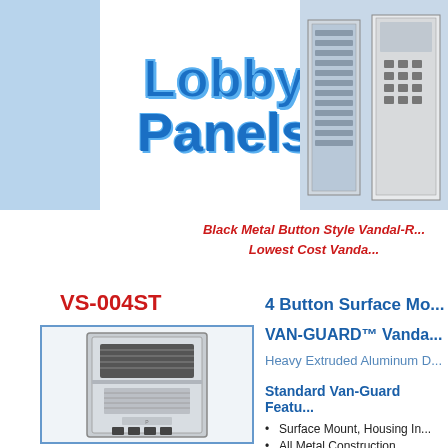[Figure (illustration): Lobby Panels banner with two intercom panel product images on blue/white background]
Black Metal Button Style Vandal-Resistant - Lowest Cost Vanda...
VS-004ST
[Figure (illustration): Surface mount vandal-resistant intercom panel unit - VS-004ST, metal housing with grille and buttons]
4 Button Surface Mo...
VAN-GUARD™ Vanda...
Heavy Extruded Aluminum D...
Standard Van-Guard Featu...
Surface Mount, Housing In...
All Metal Construction